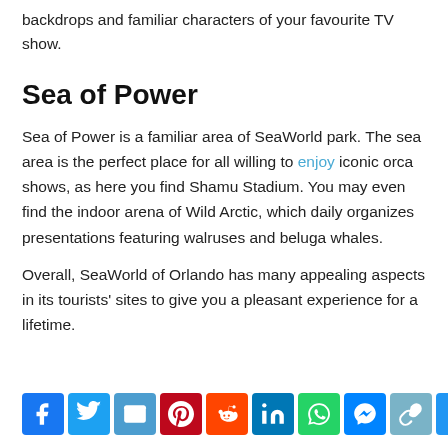backdrops and familiar characters of your favourite TV show.
Sea of Power
Sea of Power is a familiar area of SeaWorld park. The sea area is the perfect place for all willing to enjoy iconic orca shows, as here you find Shamu Stadium. You may even find the indoor arena of Wild Arctic, which daily organizes presentations featuring walruses and beluga whales.
Overall, SeaWorld of Orlando has many appealing aspects in its tourists' sites to give you a pleasant experience for a lifetime.
[Figure (infographic): Social media sharing icons row: Facebook, Twitter, Email, Pinterest, Reddit, LinkedIn, WhatsApp, Messenger, Copy link, Plus/More]